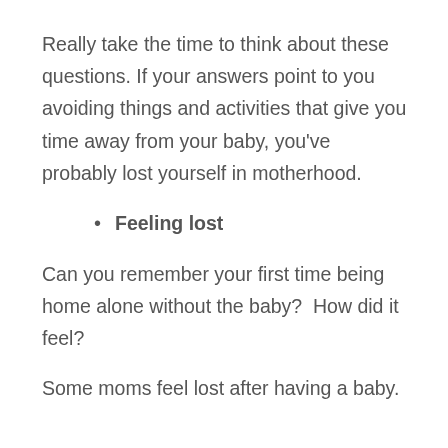Really take the time to think about these questions. If your answers point to you avoiding things and activities that give you time away from your baby, you've probably lost yourself in motherhood.
Feeling lost
Can you remember your first time being home alone without the baby?  How did it feel?
Some moms feel lost after having a baby.